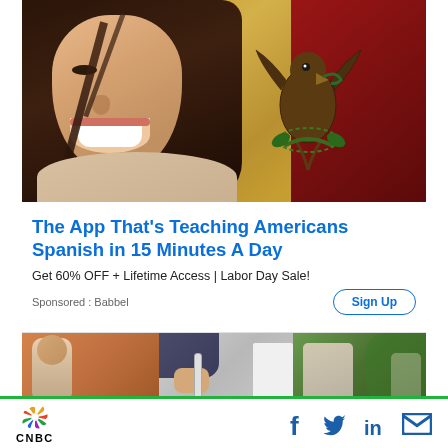[Figure (photo): Woman smiling in front of Mexican flag background - advertisement image for Babbel language learning app]
The App That's Teaching Americans Spanish in 15 Minutes A Day
Get 60% OFF + Lifetime Access | Labor Day Sale!
Sponsored : Babbel
[Figure (photo): Person painting or working on a surface - second advertisement image]
CNBC — social icons: Facebook, Twitter, LinkedIn, Email